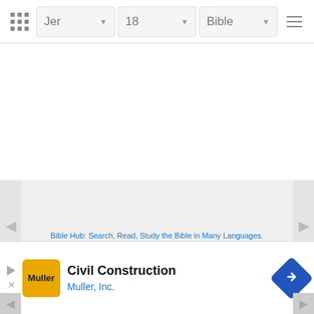Jer  18  Bible
Bible Hub: Search, Read, Study the Bible in Many Languages.
About Us | Contact Us | Privacy Policy | Terms of Use
© 2004 - 2022 by Bible Hub
[Figure (screenshot): Advertisement banner for Civil Construction by Muller, Inc. with yellow logo and blue navigation arrow icon]